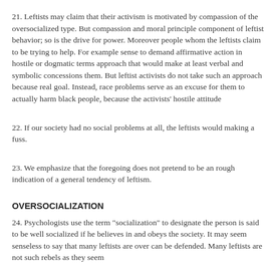21. Leftists may claim that their activism is motivated by compassion of the oversocialized type. But compassion and moral principle component of leftist behavior; so is the drive for power. Moreover people whom the leftists claim to be trying to help. For example sense to demand affirmative action in hostile or dogmatic terms approach that would make at least verbal and symbolic concessions them. But leftist activists do not take such an approach because real goal. Instead, race problems serve as an excuse for them to actually harm black people, because the activists' hostile attitude
22. If our society had no social problems at all, the leftists would making a fuss.
23. We emphasize that the foregoing does not pretend to be an rough indication of a general tendency of leftism.
OVERSOCIALIZATION
24. Psychologists use the term "socialization" to designate the person is said to be well socialized if he believes in and obeys society. It may seem senseless to say that many leftists are over can be defended. Many leftists are not such rebels as they see